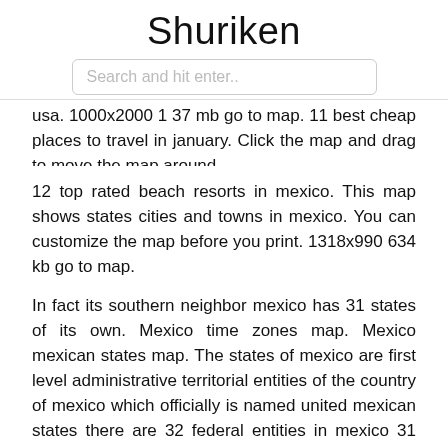Shuriken
Search and hit enter..
usa. 1000x2000 1 37 mb go to map. 11 best cheap places to travel in january. Click the map and drag to move the map around.
12 top rated beach resorts in mexico. This map shows states cities and towns in mexico. You can customize the map before you print. 1318x990 634 kb go to map.
In fact its southern neighbor mexico has 31 states of its own. Mexico time zones map. Mexico mexican states map. The states of mexico are first level administrative territorial entities of the country of mexico which officially is named united mexican states there are 32 federal entities in mexico 31 states and the capital mexico city as a separate entity without being formally a state the states are further divided into municipalities in mexico city the municipalities are known as alcaldías similar to other state s municipalities but with different administrative powers.